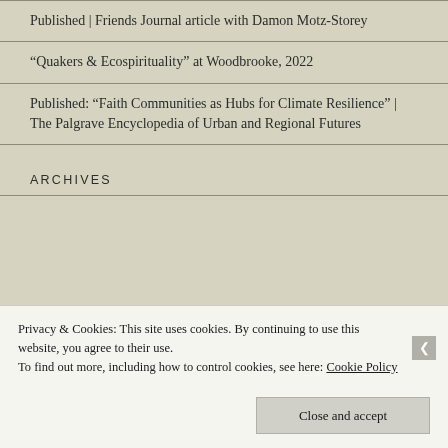Published | Friends Journal article with Damon Motz-Storey
“Quakers & Ecospirituality” at Woodbrooke, 2022
Published: “Faith Communities as Hubs for Climate Resilience” | The Palgrave Encyclopedia of Urban and Regional Futures
ARCHIVES
Privacy & Cookies: This site uses cookies. By continuing to use this website, you agree to their use.
To find out more, including how to control cookies, see here: Cookie Policy